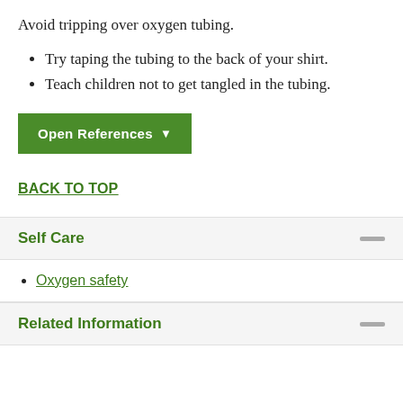Avoid tripping over oxygen tubing.
Try taping the tubing to the back of your shirt.
Teach children not to get tangled in the tubing.
[Figure (other): Green button labeled 'Open References' with dropdown arrow]
BACK TO TOP
Self Care
Oxygen safety
Related Information